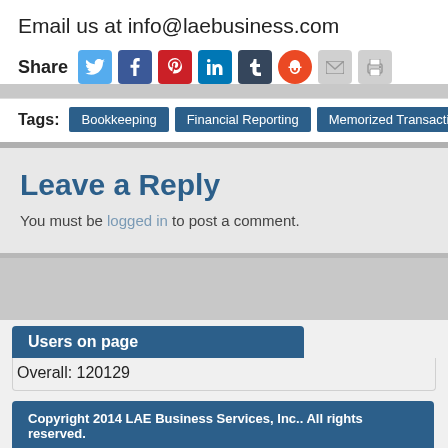Email us at info@laebusiness.com
Share [social icons: Twitter, Facebook, Pinterest, LinkedIn, Tumblr, StumbleUpon, Email, Print]
Tags: Bookkeeping | Financial Reporting | Memorized Transactions
Leave a Reply
You must be logged in to post a comment.
Users on page
Overall: 120129
Copyright 2014 LAE Business Services, Inc.. All rights reserved.